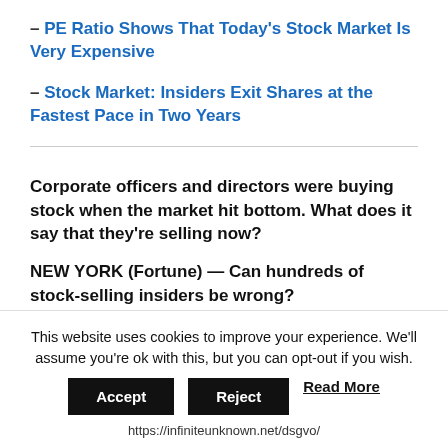– PE Ratio Shows That Today's Stock Market Is Very Expensive
– Stock Market: Insiders Exit Shares at the Fastest Pace in Two Years
Corporate officers and directors were buying stock when the market hit bottom. What does it say that they're selling now?
NEW YORK (Fortune) — Can hundreds of stock-selling insiders be wrong?
The stock market has mounted an historic rally since it hit a low in March. The S&P 500 is up 55%, as U.S. job
This website uses cookies to improve your experience. We'll assume you're ok with this, but you can opt-out if you wish.
https://infiniteunknown.net/dsgvo/